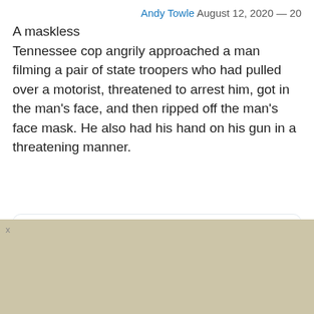Andy Towle August 12, 2020 — 20
A maskless Tennessee cop angrily approached a man filming a pair of state troopers who had pulled over a motorist, threatened to arrest him, got in the man's face, and then ripped off the man's face mask. He also had his hand on his gun in a threatening manner.
[Figure (screenshot): Embedded tweet from @pamelapopeil (Pamela Popeil) with Follow button and Twitter bird icon. Tweet text begins: 615-251-5228  Just spoke with]
615-251-5228  Just spoke with